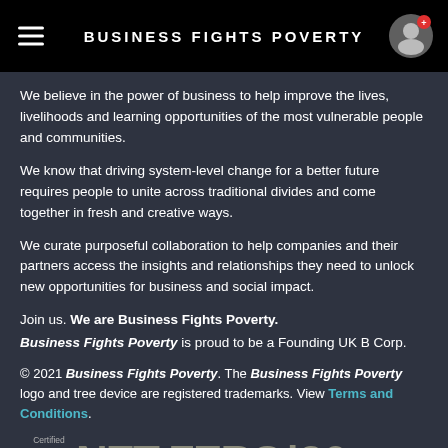BUSINESS FIGHTS POVERTY
We believe in the power of business to help improve the lives, livelihoods and learning opportunities of the most vulnerable people and communities.
We know that driving system-level change for a better future requires people to unite across traditional divides and come together in fresh and creative ways.
We curate purposeful collaboration to help companies and their partners access the insights and relationships they need to unlock new opportunities for business and social impact.
Join us. We are Business Fights Poverty. Business Fights Poverty is proud to be a Founding UK B Corp.
© 2021 Business Fights Poverty. The Business Fights Poverty logo and tree device are registered trademarks. View Terms and Conditions.
[Figure (logo): Certified B Corp NET ZERO 20 logo at bottom of page]